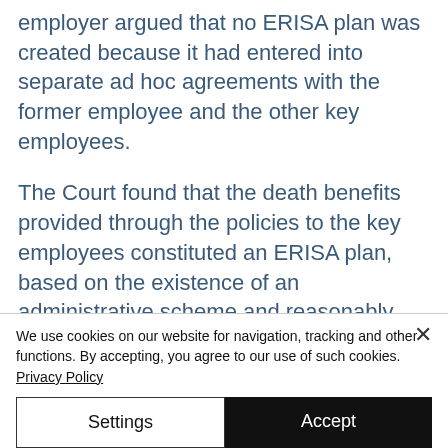employer argued that no ERISA plan was created because it had entered into separate ad hoc agreements with the former employee and the other key employees.
The Court found that the death benefits provided through the policies to the key employees constituted an ERISA plan, based on the existence of an administrative scheme and reasonably ascertainable terms, even in the
We use cookies on our website for navigation, tracking and other functions. By accepting, you agree to our use of such cookies. Privacy Policy
Settings
Accept